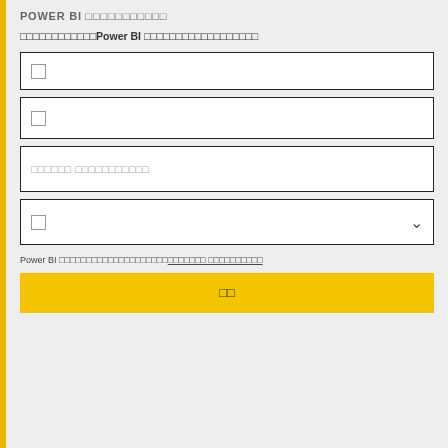POWER BI □□□□□□□□□□□
□□□□□□□□□□□□Power BI □□□□□□□□□□□□□□□□□□
[Figure (screenshot): Form with four input fields: two text inputs with placeholder characters, one text input with placeholder text showing square characters, one dropdown select with a square character and dropdown arrow, plus a footer note and yellow submit button.]
Power BI □□□□□□□□□□□□□□□□□□□□□□□□ □□□□□□□□□□
□□